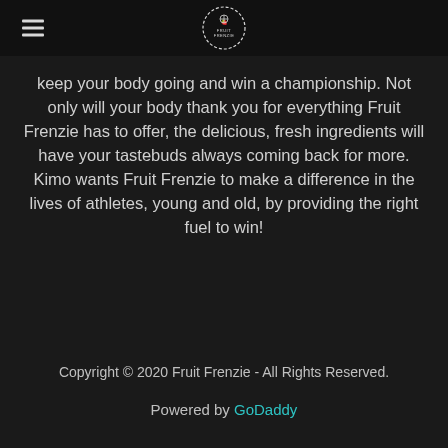Fruit Frenzie [logo and hamburger menu]
keep your body going and win a championship. Not only will your body thank you for everything Fruit Frenzie has to offer, the delicious, fresh ingredients will have your tastebuds always coming back for more. Kimo wants Fruit Frenzie to make a difference in the lives of athletes, young and old, by providing the right fuel to win!
Copyright © 2020 Fruit Frenzie - All Rights Reserved.
Powered by GoDaddy